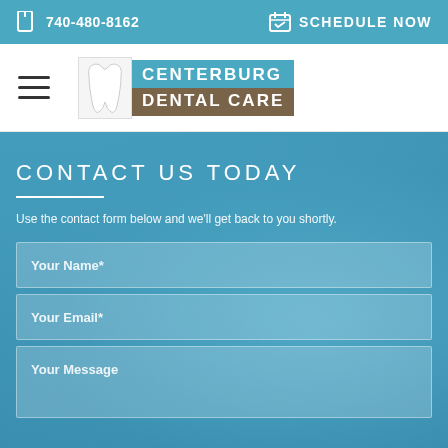740-480-8162   SCHEDULE NOW
[Figure (logo): Centerburg Dental Care logo with tooth icon, teal and brown color scheme]
CONTACT US TODAY
Use the contact form below and we'll get back to you shortly.
Your Name*
Your Email*
Your Message